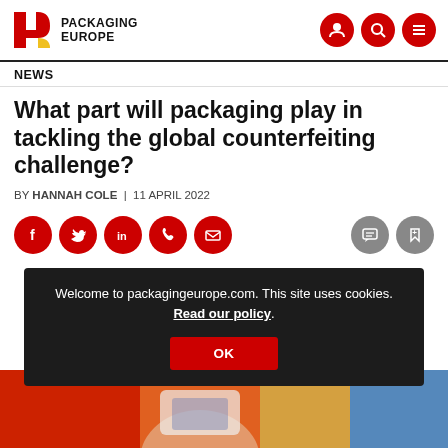PACKAGING EUROPE
NEWS
What part will packaging play in tackling the global counterfeiting challenge?
BY HANNAH COLE | 11 APRIL 2022
[Figure (screenshot): Row of social sharing icons: Facebook, Twitter, LinkedIn, Phone, Email (red circles), plus comment and bookmark icons (gray circles)]
Welcome to packagingeurope.com. This site uses cookies. Read our policy.
[Figure (photo): Partial photo of hands holding a device, colorful background with red, orange, yellow tones]